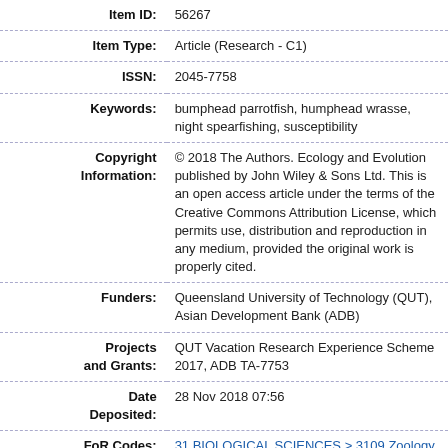| Field | Value |
| --- | --- |
| Item ID: | 56267 |
| Item Type: | Article (Research - C1) |
| ISSN: | 2045-7758 |
| Keywords: | bumphead parrotfish, humphead wrasse, night spearfishing, susceptibility |
| Copyright Information: | © 2018 The Authors. Ecology and Evolution published by John Wiley & Sons Ltd. This is an open access article under the terms of the Creative Commons Attribution License, which permits use, distribution and reproduction in any medium, provided the original work is properly cited. |
| Funders: | Queensland University of Technology (QUT), Asian Development Bank (ADB) |
| Projects and Grants: | QUT Vacation Research Experience Scheme 2017, ADB TA-7753 |
| Date Deposited: | 28 Nov 2018 07:56 |
| FoR Codes: | 31 BIOLOGICAL SCIENCES > 3109 Zoology > 310901 Animal behaviour @ 50% |